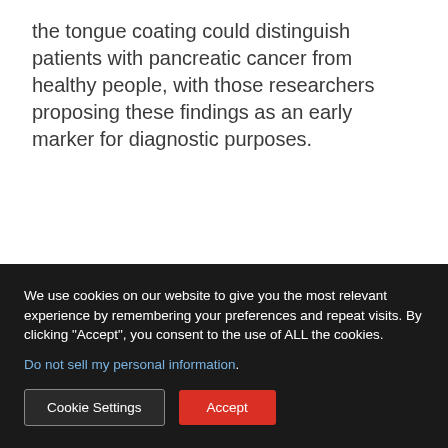the tongue coating could distinguish patients with pancreatic cancer from healthy people, with those researchers proposing these findings as an early marker for diagnostic purposes.
We use cookies on our website to give you the most relevant experience by remembering your preferences and repeat visits. By clicking “Accept”, you consent to the use of ALL the cookies.
Do not sell my personal information.
Cookie Settings
Accept